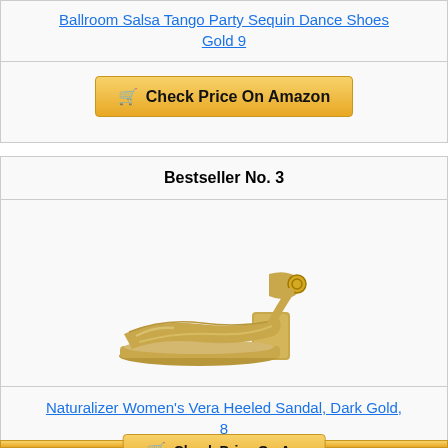Ballroom Salsa Tango Party Sequin Dance Shoes Gold 9
[Figure (other): Check Price On Amazon button (gold/yellow gradient button with shopping cart icon)]
Bestseller No. 3
[Figure (photo): Gold metallic heeled sandal - Naturalizer Women's Vera Heeled Sandal, Dark Gold]
Naturalizer Women's Vera Heeled Sandal, Dark Gold, 8
[Figure (other): Check Price On Amazon button (partially visible, gold/yellow gradient)]